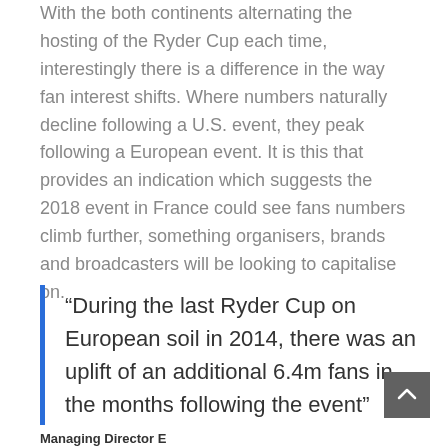With the both continents alternating the hosting of the Ryder Cup each time, interestingly there is a difference in the way fan interest shifts. Where numbers naturally decline following a U.S. event, they peak following a European event. It is this that provides an indication which suggests the 2018 event in France could see fans numbers climb further, something organisers, brands and broadcasters will be looking to capitalise on.
“During the last Ryder Cup on European soil in 2014, there was an uplift of an additional 6.4m fans in the months following the event”
Managing Director E...